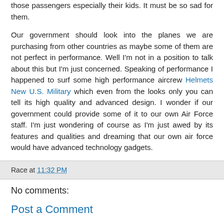those passengers especially their kids. It must be so sad for them.
Our government should look into the planes we are purchasing from other countries as maybe some of them are not perfect in performance. Well I'm not in a position to talk about this but I'm just concerned. Speaking of performance I happened to surf some high performance aircrew Helmets New U.S. Military which even from the looks only you can tell its high quality and advanced design. I wonder if our government could provide some of it to our own Air Force staff. I'm just wondering of course as I'm just awed by its features and qualities and dreaming that our own air force would have advanced technology gadgets.
Race at 11:32 PM
No comments:
Post a Comment